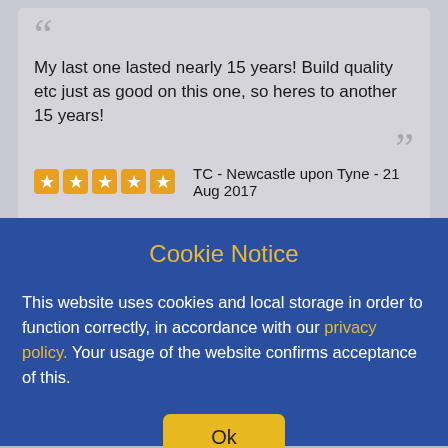My last one lasted nearly 15 years! Build quality etc just as good on this one, so heres to another 15 years!
TC - Newcastle upon Tyne - 21 Aug 2017
Cookie Notice
This website uses cookies and local storage in order to function correctly, in accordance with our privacy policy. Your usage of the website confirms acceptance of this.
Ok
[Figure (logo): Tayna Batteries logo with lightning bolt battery icon]
[Figure (logo): WhatsApp green phone icon in speech bubble]